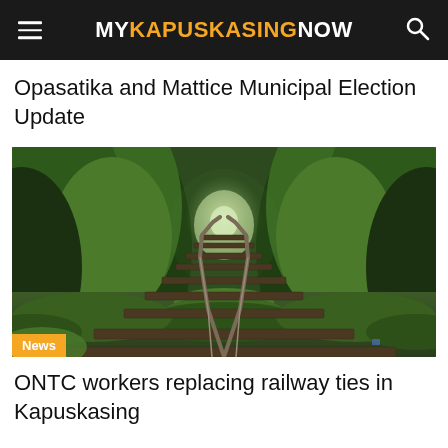MY KAPUSKASING NOW
Opasatika and Mattice Municipal Election Update
[Figure (photo): Railway tracks stretching into the distance through a lush green forest tunnel]
News
ONTC workers replacing railway ties in Kapuskasing